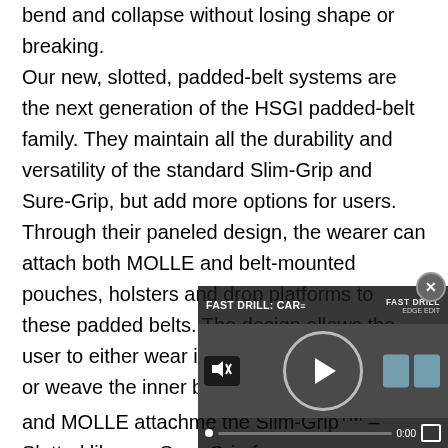bend and collapse without losing shape or breaking. Our new, slotted, padded-belt systems are the next generation of the HSGI padded-belt family. They maintain all the durability and versatility of the standard Slim-Grip and Sure-Grip, but add more options for users. Through their paneled design, the wearer can attach both MOLLE and belt-mounted pouches, holsters and drop platforms to these padded belts. The design allows the user to either wear it as a full MOLLE system or weave the inner belt in and out of the belt and MOLLE attachme the Slim-GripTM – Slotted like our Sure-Grip for use w
[Figure (screenshot): Embedded video player overlay showing 'FAST DRILL: CAR' video with play button, mute icon, progress bar at 0:00, target silhouette icons, and a close (x) button.]